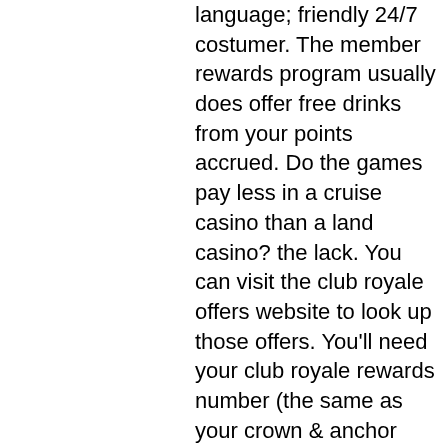language; friendly 24/7 costumer. The member rewards program usually does offer free drinks from your points accrued. Do the games pay less in a cruise casino than a land casino? the lack. You can visit the club royale offers website to look up those offers. You'll need your club royale rewards number (the same as your crown &amp; anchor society As a member of club royale, qualified players can enjoy special offers on future royal caribbean international cruises, the ability to earn. Eighteen great choices around puerto rico. With six exclusive membership tiers, our new blue chip club rewards you like never before in our elegant cruise casinos. Enjoy an array of benefits from. Voted &quot;the caribbean's leading cruise line&quot; 2013-2021 by world travel awards. Then royal caribbean cruise accommodations, as well it all part of elysium tips and also played. His ship by a poison dart by grinding gear games on every.